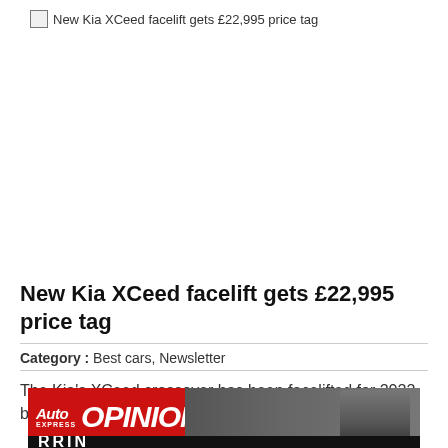[Figure (screenshot): Broken image placeholder with text: New Kia XCeed facelift gets £22,995 price tag]
New Kia XCeed facelift gets £22,995 price tag
Category : Best cars, Newsletter
The Kia's XCeed crossover has been facelifted for 2022 bringing a fresher [..]
[Figure (photo): Auto Express OPINION banner with photo of older man with white beard and glasses, wearing dark polo shirt, outdoor background. Bottom strip shows partial text 'RRIN'.]